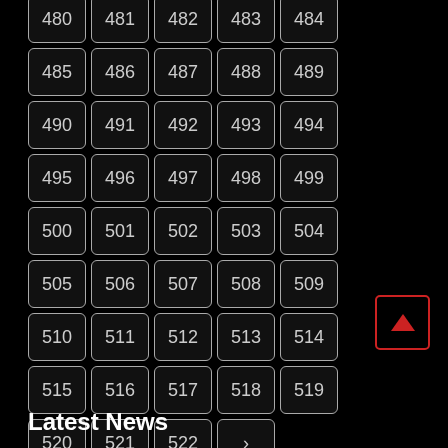[Figure (other): A grid of numbered black buttons/cells on a black background, numbered 480 through 522, arranged in 9 rows of 5 columns (with last row having 4 items: 520, 521, 522, and a '>' chevron). A red-bordered box with an upward arrow (scroll-to-top button) appears at the right side near rows 8-9.]
Latest News